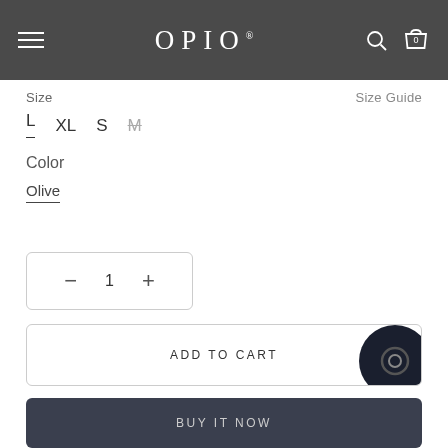OPIO
Size   Size Guide
L  XL  S  M
Color
Olive
– 1 +
ADD TO CART
BUY IT NOW